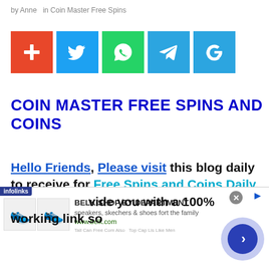by Anne  in Coin Master Free Spins
[Figure (infographic): Row of 5 social sharing icon buttons: red plus, blue Twitter bird, green WhatsApp logo, blue Telegram paper plane, blue Google G]
COIN MASTER FREE SPINS AND COINS
Hello Friends, Please visit this blog daily to receive for Free Spins and Coins Daily. We try to provide you with a 100% working link so
[Figure (infographic): Advertisement banner: infolinks badge, BELK SHOP BY DEPARTMENT ad with shoe images, description 'sneakers, skechers & shoes fort the family', www.belk.com, close button, navigation arrow circle]